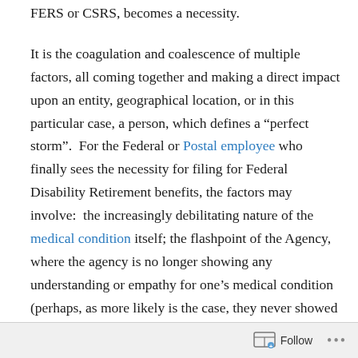FERS or CSRS, becomes a necessity.
It is the coagulation and coalescence of multiple factors, all coming together and making a direct impact upon an entity, geographical location, or in this particular case, a person, which defines a “perfect storm”.  For the Federal or Postal employee who finally sees the necessity for filing for Federal Disability Retirement benefits, the factors may involve:  the increasingly debilitating nature of the medical condition itself; the flashpoint of the Agency, where the agency is no longer showing any understanding or empathy for one’s medical condition (perhaps, as more likely is the case, they never showed any such understanding or empathy, anyway); the constricting resources because of the continuous need to exhaust sick and annual leave, and going out on LWOP; exhaustion of
Follow